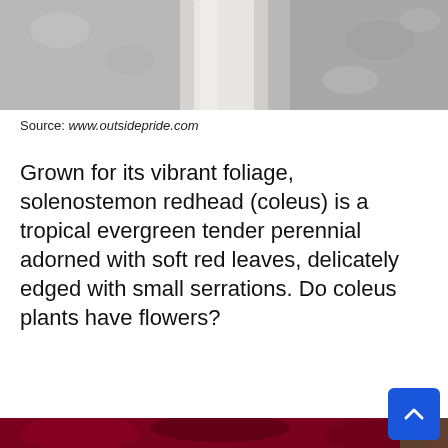[Figure (photo): Top portion of a photo showing a white pot/vase against a gray gravel or stone background]
Source: www.outsidepride.com
Grown for its vibrant foliage, solenostemon redhead (coleus) is a tropical evergreen tender perennial adorned with soft red leaves, delicately edged with small serrations. Do coleus plants have flowers?
[Figure (photo): Close-up photo of deep red/crimson coleus (solenostemon redhead) leaves with white-edged serrations, densely packed, with green foliage visible in background right]
[Figure (other): Blue scroll-to-top button with upward arrow chevron in bottom-right corner]